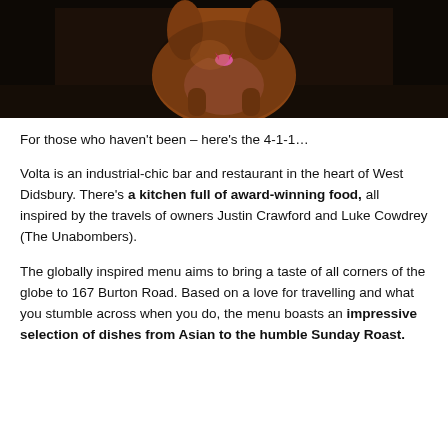[Figure (photo): Photo of a brown dog sitting on a dark leather couch, wearing a pink tag/bow]
For those who haven't been – here's the 4-1-1…
Volta is an industrial-chic bar and restaurant in the heart of West Didsbury. There's a kitchen full of award-winning food, all inspired by the travels of owners Justin Crawford and Luke Cowdrey (The Unabombers).
The globally inspired menu aims to bring a taste of all corners of the globe to 167 Burton Road. Based on a love for travelling and what you stumble across when you do, the menu boasts an impressive selection of dishes from Asian to the humble Sunday Roast.